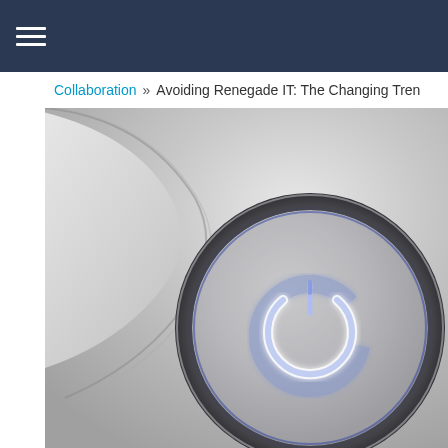≡ (navigation menu)
Collaboration » Avoiding Renegade IT: The Changing Tren
[Figure (photo): Close-up macro photograph of a metallic power button with a glowing blue/white power symbol icon, showing circular ridged metal bezel and textured silver/grey surface]